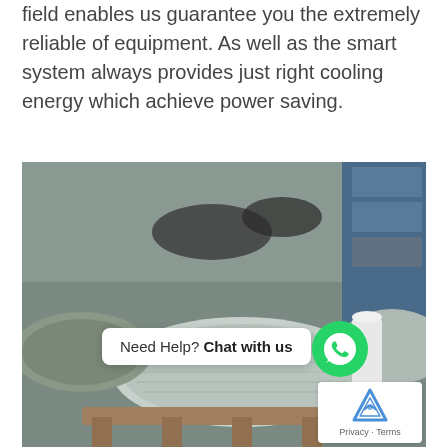field enables us guarantee you the extremely reliable of equipment. As well as the smart system always provides just right cooling energy which achieve power saving.
[Figure (photo): Industrial warehouse photo showing large rolls of metallic mesh/wire netting material stacked on wooden pallets, with a WhatsApp 'Need Help? Chat with us' overlay widget and a reCAPTCHA badge in the bottom right corner.]